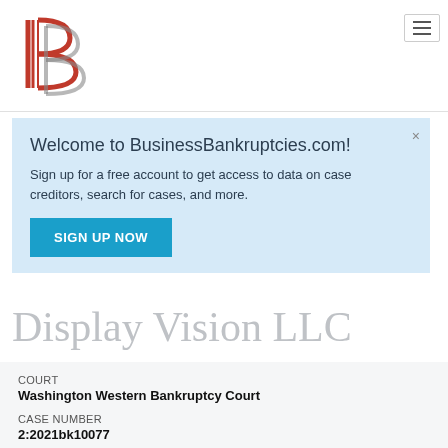[Figure (logo): BusinessBankruptcies.com logo — stylized red and grey letter B]
Welcome to BusinessBankruptcies.com!
Sign up for a free account to get access to data on case creditors, search for cases, and more.
SIGN UP NOW
Display Vision LLC
COURT
Washington Western Bankruptcy Court
CASE NUMBER
2:2021bk10077
TYPE (